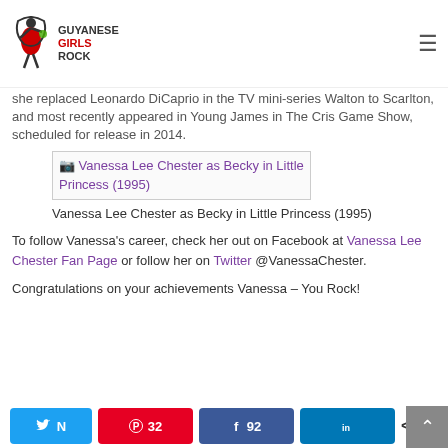Guyanese Girls Rock
she replaced Leonardo DiCaprio in the TV mini-series Walton to Scarlton, and most recently appeared in Young James in The Cris Game Show, scheduled for release in 2014.
[Figure (photo): Broken image link: Vanessa Lee Chester as Becky in Little Princess (1995)]
Vanessa Lee Chester as Becky in Little Princess (1995)
To follow Vanessa's career, check her out on Facebook at Vanessa Lee Chester Fan Page or follow her on Twitter @VanessaChester.
Congratulations on your achievements Vanessa – You Rock!
N 32 92 in 124 SHARES